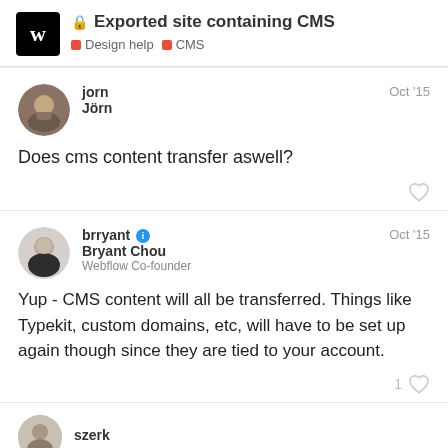Exported site containing CMS — Design help, CMS
jorn
Jörn
Oct '15
Does cms content transfer aswell?
brryant
Bryant Chou
Webflow Co-founder
Oct '15
Yup - CMS content will all be transferred. Things like Typekit, custom domains, etc, will have to be set up again though since they are tied to your account.